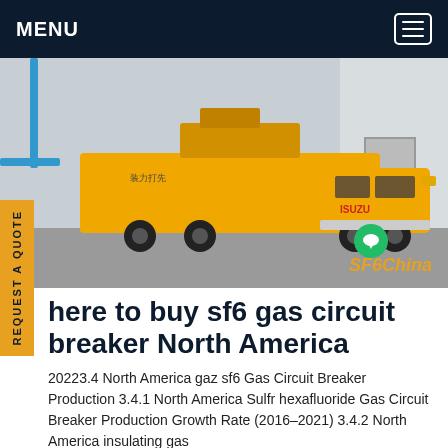MENU
[Figure (photo): Yellow ISUZU truck with special equipment body parked outside a building; SF6China watermark in lower right corner]
here to buy sf6 gas circuit breaker North America
20223.4 North America gaz sf6 Gas Circuit Breaker Production 3.4.1 North America Sulfr hexafluoride Gas Circuit Breaker Production Growth Rate (2016-2021) 3.4.2 North America insulating gas